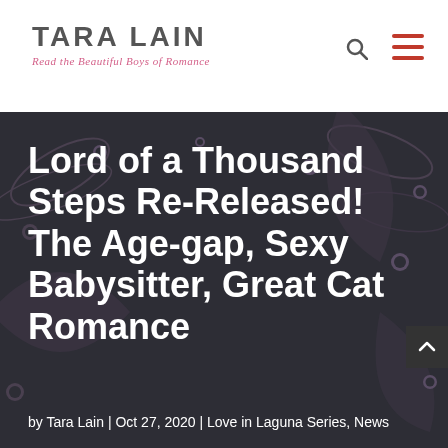TARA LAIN | Read the Beautiful Boys of Romance
Lord of a Thousand Steps Re-Released! The Age-gap, Sexy Babysitter, Great Cat Romance
by Tara Lain | Oct 27, 2020 | Love in Laguna Series, News